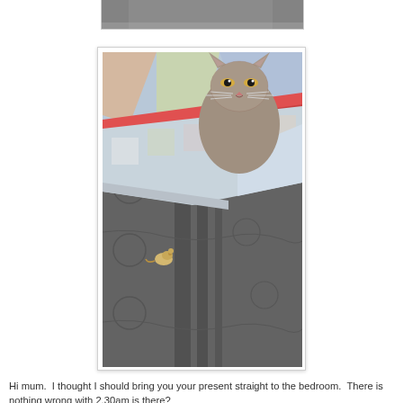[Figure (photo): Partial view of a cat photo at top of page, cropped — only the bottom portion visible showing the cat on a dark quilted bedspread]
[Figure (photo): A grey/blue British Shorthair cat sitting on a dark grey quilted bedspread, with a colorful patchwork quilt folded back. A small toy mouse is visible on the bed. The cat appears to be looking at the camera with a slightly grumpy expression.]
Hi mum.  I thought I should bring you your present straight to the bedroom.  There is nothing wrong with 2.30am is there?
Happy Early Valentines Present